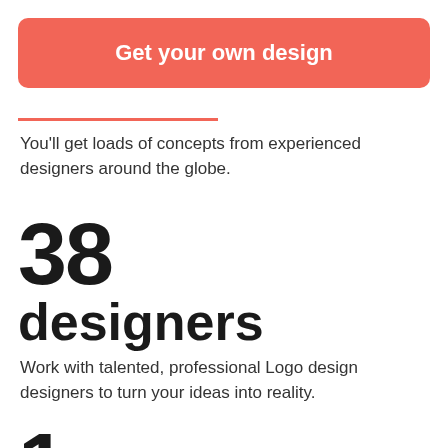[Figure (other): Red/coral rounded button with bold white text reading 'Get your own design']
You'll get loads of concepts from experienced designers around the globe.
38
designers
Work with talented, professional Logo design designers to turn your ideas into reality.
1